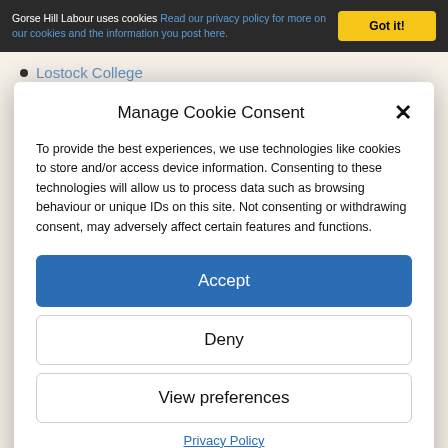Gorse Hill Labour uses cookies Read our privacy policy for more on our cookies and the information you post here.
Got it!
Lostock College
Manage Cookie Consent
To provide the best experiences, we use technologies like cookies to store and/or access device information. Consenting to these technologies will allow us to process data such as browsing behaviour or unique IDs on this site. Not consenting or withdrawing consent, may adversely affect certain features and functions.
Accept
Deny
View preferences
Privacy Policy